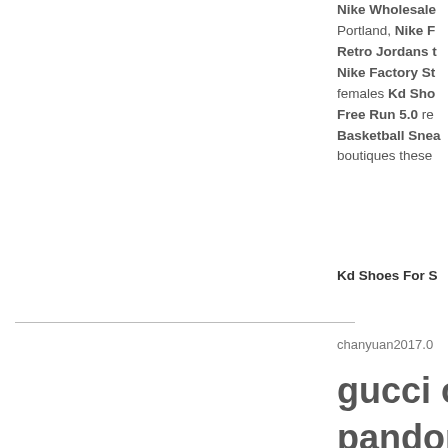Nike Wholesale Portland, Nike F Retro Jordans t Nike Factory St females Kd Sho Free Run 5.0 re Basketball Snea boutiques these
Kd Shoes For S
chanyuan2017.0
gucci ou
pandora
coach o
michael
oakley s
cheap o